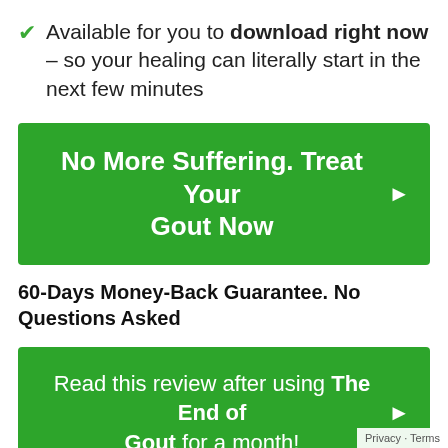Available for you to download right now – so your healing can literally start in the next few minutes
[Figure (other): Green button with white text: No More Suffering. Treat Your Gout Now with right arrow]
60-Days Money-Back Guarantee. No Questions Asked
[Figure (other): Green button with white text: Read this review after using The End of Gout for a month! with right arrow]
Privacy · Terms